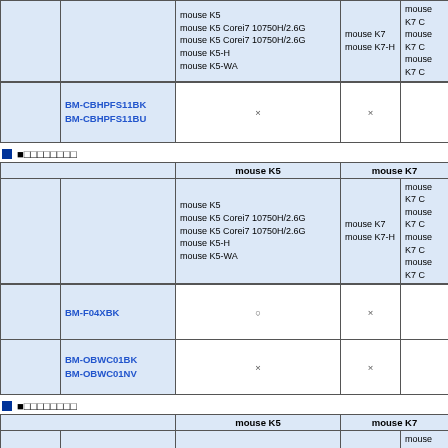|  |  | mouse K5 | mouse K7 | mouse K7 C |
| --- | --- | --- | --- | --- |
|  |  | mouse K5
mouse K5 Corei7 10750H/2.6G
mouse K5 Corei7 10750H/2.6G
mouse K5-H
mouse K5-WA | mouse K7
mouse K7-H | mouse K7 C
mouse K7 C
mouse K7 C |
|  | BM-CBHPFS11BK
BM-CBHPFS11BU | × | × |  |
■□□□□□□□□
|  |  | mouse K5 | mouse K7 | mouse K7 C |
| --- | --- | --- | --- | --- |
|  |  | mouse K5
mouse K5 Corei7 10750H/2.6G
mouse K5 Corei7 10750H/2.6G
mouse K5-H
mouse K5-WA | mouse K7
mouse K7-H | mouse K7 C
mouse K7 C
mouse K7 C
mouse K7 C |
|  | BM-F04XBK | ○ | × |  |
|  | BM-OBWC01BK
BM-OBWC01NV | × | × |  |
■□□□□□□□□
|  |  | mouse K5 | mouse K7 | mouse K7 C |
| --- | --- | --- | --- | --- |
|  |  | mouse K5
mouse K5 Corei7 10750H/2.6G
mouse K5 Corei7 10750H/2.6G
mouse K5-H
mouse K5-WA | mouse K7
mouse K7-H | mouse K7 C
mouse K7 C
mouse K7 C
mouse K7 C |